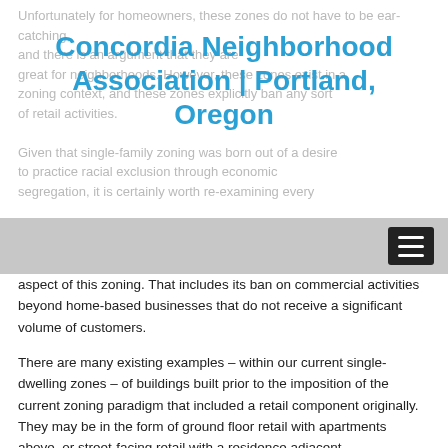Concordia Neighborhood Association | Portland, Oregon
Unfortunately for homeowners, these zones do not have to be ear-catching, and there is an argument that they are great for neighborhoods. However, these zones exist in a zoning context, and these zones explicitly ban any sort of retail activities.
Given that single-family zoning was born out of a desire to practice racial exclusion through economic segregation, it is certainly worth re-examining every aspect of this zoning. That includes its ban on commercial activities beyond home-based businesses that do not receive a significant volume of customers.
There are many existing examples – within our current single-dwelling zones – of buildings built prior to the imposition of the current zoning paradigm that included a retail component originally. They may be in the form of ground floor retail with apartments above, or street-facing retail with a residence adjacent.
Portland was built originally with a mix of the retail